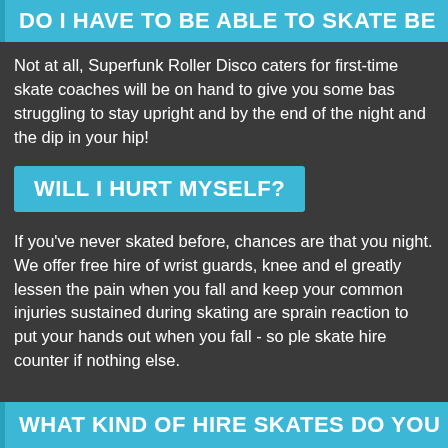DO I HAVE TO BE ABLE TO SKATE BE
Not at all, Superfunk Roller Disco caters for first-time skate coaches will be on hand to give you some bas struggling to stay upright and by the end of the night and the dip in your hip!
WILL I HURT MYSELF?
If you've never skated before, chances are that you night. We offer free hire of wrist guards, knee and el greatly lessen the pain when you fall and keep your common injuries sustained during skating are sprain reaction to put your hands out when you fall - so ple skate hire counter if nothing else.
WHAT KIND OF HIRE SKATES DO YOU